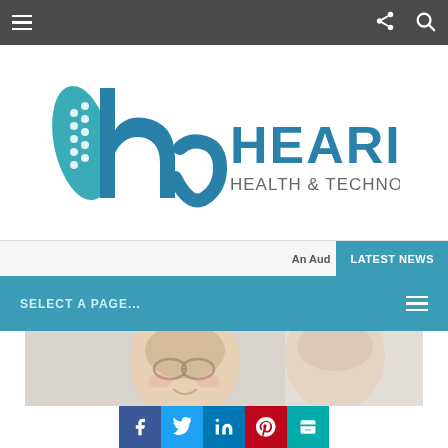Hearing Health & Technology Matters — Navigation bar
[Figure (logo): Hearing Health & Technology Matters logo with stylized 'h' icon in teal and text HEARING HEALTH & TECHNOLOGY MATTERS]
An Aud
LATEST NEWS
SELECT A PAGE...
[Figure (photo): Two elderly women smiling, one wearing glasses, photographed close-up]
Social share buttons: Facebook, Twitter, LinkedIn, Pinterest, Print